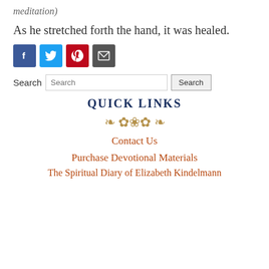meditation)
As he stretched forth the hand, it was healed.
[Figure (other): Social share buttons: Facebook (blue), Twitter (cyan), Pinterest (red), Email (dark grey)]
Search [Search input] [Search button]
QUICK LINKS
[Figure (illustration): Decorative floral ornament divider in gold/brown color]
Contact Us
Purchase Devotional Materials
The Spiritual Diary of Elizabeth Kindelmann